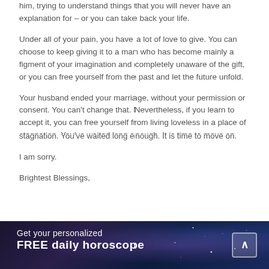him, trying to understand things that you will never have an explanation for – or you can take back your life.
Under all of your pain, you have a lot of love to give. You can choose to keep giving it to a man who has become mainly a figment of your imagination and completely unaware of the gift, or you can free yourself from the past and let the future unfold.
Your husband ended your marriage, without your permission or consent. You can't change that. Nevertheless, if you learn to accept it, you can free yourself from living loveless in a place of stagnation. You've waited long enough. It is time to move on.
I am sorry.
Brightest Blessings,
[Figure (infographic): Dark space/galaxy background banner with text 'Get your personalized FREE daily horoscope' and an upward arrow chevron button on the right]